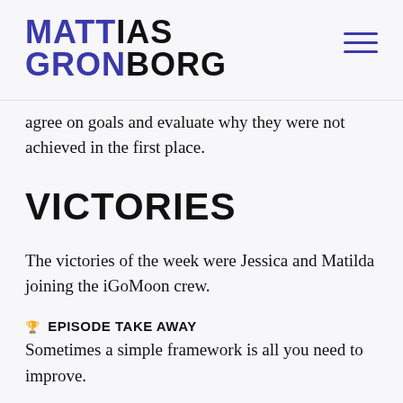MATTIAS GRONBORG
agree on goals and evaluate why they were not achieved in the first place.
VICTORIES
The victories of the week were Jessica and Matilda joining the iGoMoon crew.
🏆 EPISODE TAKE AWAY
Sometimes a simple framework is all you need to improve.
How are you improving leadership?